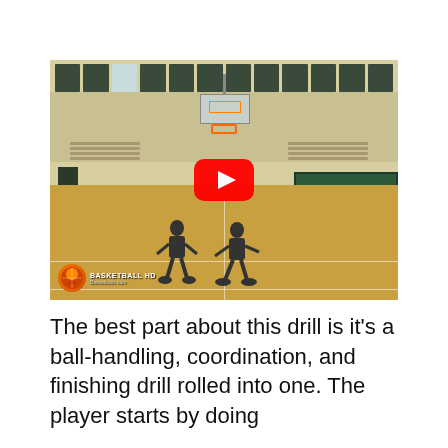[Figure (screenshot): YouTube video thumbnail of a basketball drill in a gym. Two players on a wooden basketball court with a hoop visible. A YouTube play button (red rounded rectangle with white triangle) overlays the center. A 'Basketball HD' logo with a basketball icon appears in the lower left corner.]
The best part about this drill is it's a ball-handling, coordination, and finishing drill rolled into one. The player starts by doing